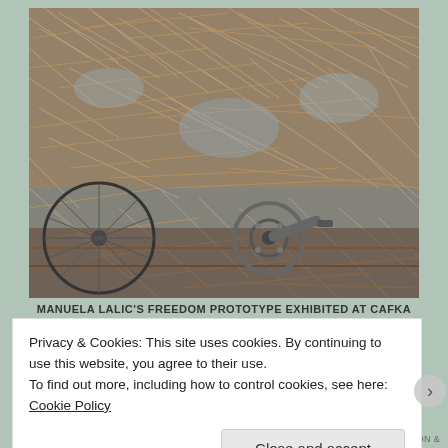[Figure (photo): A bicycle wheel and frame covered with dry brown fibrous plant material (possibly tumbleweed or dry grass). Green cacti visible among the dry vegetation. The scene appears to be an art installation.]
MANUELA LALIC'S FREEDOM PROTOTYPE EXHIBITED AT CAFKA
Privacy & Cookies: This site uses cookies. By continuing to use this website, you agree to their use.
To find out more, including how to control cookies, see here: Cookie Policy